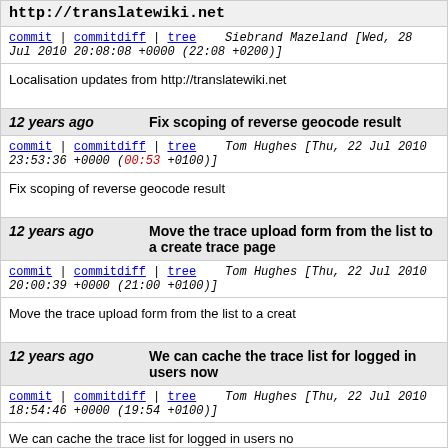http://translatewiki.net
commit | commitdiff | tree   Siebrand Mazeland [Wed, 28 Jul 2010 20:08:08 +0000 (22:08 +0200)]
Localisation updates from http://translatewiki.net
12 years ago   Fix scoping of reverse geocode result
commit | commitdiff | tree   Tom Hughes [Thu, 22 Jul 2010 23:53:36 +0000 (00:53 +0100)]
Fix scoping of reverse geocode result
12 years ago   Move the trace upload form from the list to a create trace page
commit | commitdiff | tree   Tom Hughes [Thu, 22 Jul 2010 20:00:39 +0000 (21:00 +0100)]
Move the trace upload form from the list to a creat
12 years ago   We can cache the trace list for logged in users now
commit | commitdiff | tree   Tom Hughes [Thu, 22 Jul 2010 18:54:46 +0000 (19:54 +0100)]
We can cache the trace list for logged in users no